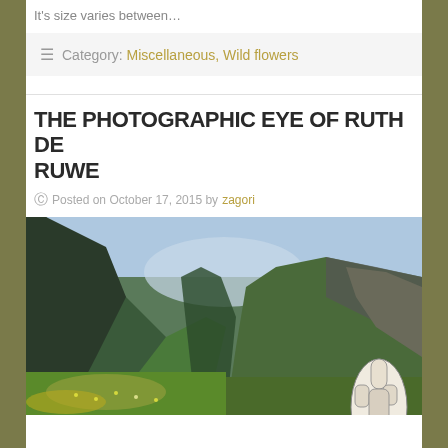It's size varies between…
≡ Category: Miscellaneous, Wild flowers
THE PHOTOGRAPHIC EYE OF RUTH DE RUWE
Posted on October 17, 2015 by zagori
[Figure (photo): Panoramic photograph of a lush green mountain gorge/valley with steep rocky cliffs on both sides, green vegetation covering the hills, and wildflowers in the foreground. A small illustrated hand/pointing finger icon appears in the lower right corner of the image.]